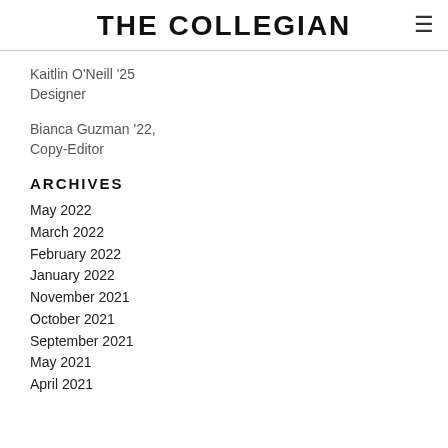THE COLLEGIAN
Kaitlin O'Neill '25
Designer
Bianca Guzman '22,
Copy-Editor
ARCHIVES
May 2022
March 2022
February 2022
January 2022
November 2021
October 2021
September 2021
May 2021
April 2021